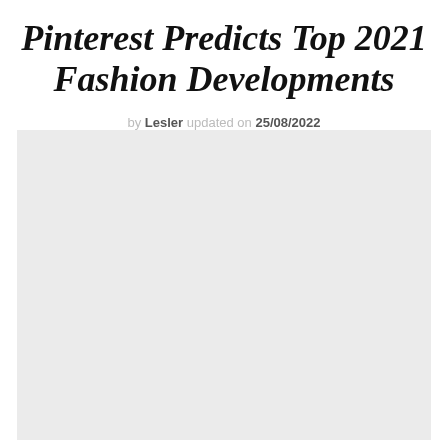Pinterest Predicts Top 2021 Fashion Developments
by Lesler updated on 25/08/2022
[Figure (photo): Large light gray placeholder image area representing a fashion-related photograph]